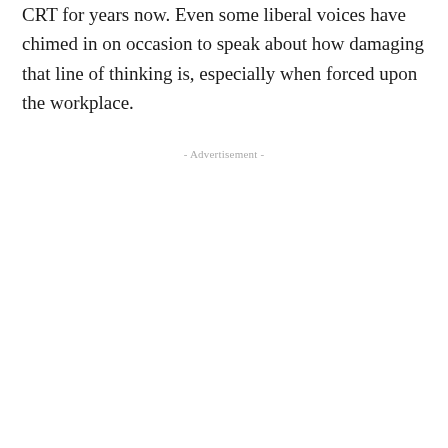CRT for years now. Even some liberal voices have chimed in on occasion to speak about how damaging that line of thinking is, especially when forced upon the workplace.
- Advertisement -